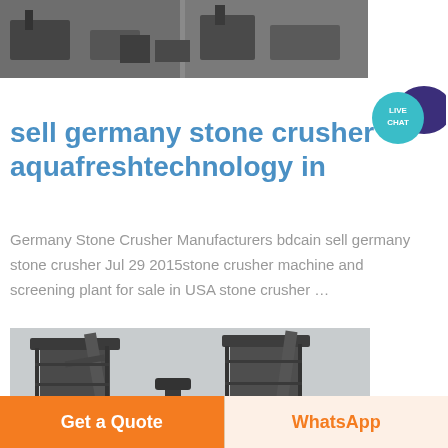[Figure (photo): Top partial photo of industrial stone crusher equipment, dark machinery on grey background]
[Figure (illustration): Live Chat bubble icon — teal circle with 'LIVE CHAT' text and dark purple speech bubble]
sell germany stone crusher aquafreshtechnology in
Germany Stone Crusher Manufacturers bdcain sell germany stone crusher Jul 29 2015stone crusher machine and screening plant for sale in USA stone crusher …
[Figure (photo): Industrial stone crusher facility with tall cylindrical silos and conveyor structures against a grey sky]
Get a Quote
WhatsApp